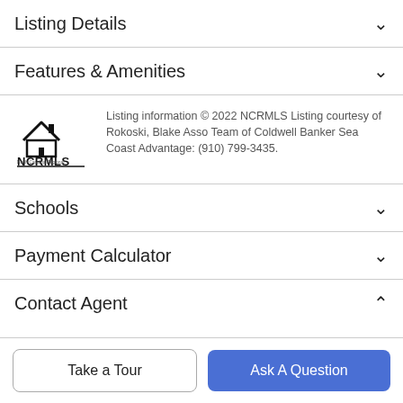Listing Details
Features & Amenities
[Figure (logo): NCRMLS (North Carolina Regional MLS) logo with house icon]
Listing information © 2022 NCRMLS Listing courtesy of Rokoski, Blake Asso Team of Coldwell Banker Sea Coast Advantage: (910) 799-3435.
Schools
Payment Calculator
Contact Agent
Take a Tour
Ask A Question